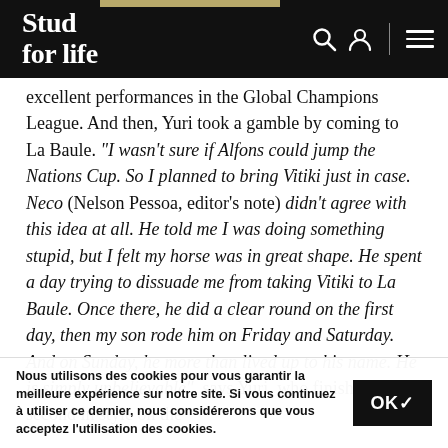Stud for life
excellent performances in the Global Champions League. And then, Yuri took a gamble by coming to La Baule. "I wasn't sure if Alfons could jump the Nations Cup. So I planned to bring Vitiki just in case. Neco (Nelson Pessoa, editor's note) didn't agree with this idea at all. He told me I was doing something stupid, but I felt my horse was in great shape. He spent a day trying to dissuade me from taking Vitiki to La Baule. Once there, he did a clear round on the first day, then my son rode him on Friday and Saturday. And on Sunday, he more than lived up to his name. He is simply unbelievable", says Yuri, who finished second in style on the
Nous utilisons des cookies pour vous garantir la meilleure expérience sur notre site. Si vous continuez à utiliser ce dernier, nous considérerons que vous acceptez l'utilisation des cookies.